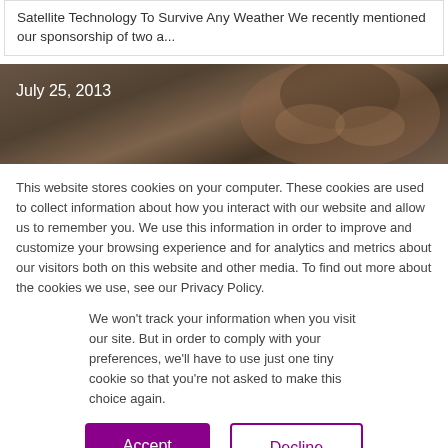Satellite Technology To Survive Any Weather We recently mentioned our sponsorship of two a...
[Figure (photo): Close-up photo of a person's face wearing a dark beanie/hat, outdoor setting. Date overlay reads July 25, 2013.]
This website stores cookies on your computer. These cookies are used to collect information about how you interact with our website and allow us to remember you. We use this information in order to improve and customize your browsing experience and for analytics and metrics about our visitors both on this website and other media. To find out more about the cookies we use, see our Privacy Policy.
We won't track your information when you visit our site. But in order to comply with your preferences, we'll have to use just one tiny cookie so that you're not asked to make this choice again.
Accept
Decline